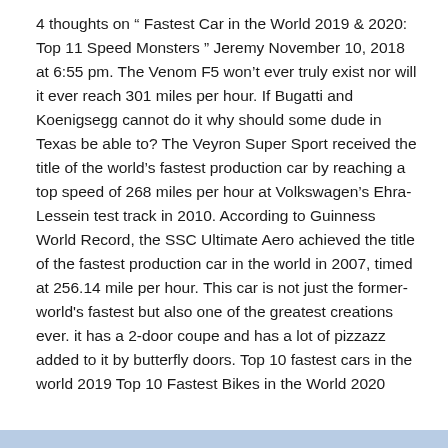4 thoughts on “ Fastest Car in the World 2019 & 2020: Top 11 Speed Monsters ” Jeremy November 10, 2018 at 6:55 pm. The Venom F5 won’t ever truly exist nor will it ever reach 301 miles per hour. If Bugatti and Koenigsegg cannot do it why should some dude in Texas be able to? The Veyron Super Sport received the title of the world’s fastest production car by reaching a top speed of 268 miles per hour at Volkswagen’s Ehra-Lessein test track in 2010. According to Guinness World Record, the SSC Ultimate Aero achieved the title of the fastest production car in the world in 2007, timed at 256.14 mile per hour. This car is not just the former-world's fastest but also one of the greatest creations ever. it has a 2-door coupe and has a lot of pizzazz added to it by butterfly doors. Top 10 fastest cars in the world 2019 Top 10 Fastest Bikes in the World 2020